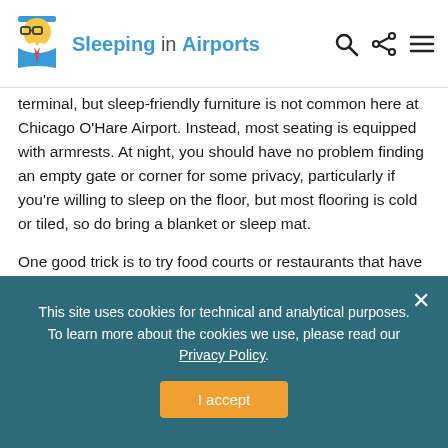Sleeping in Airports
terminal, but sleep-friendly furniture is not common here at Chicago O’Hare Airport. Instead, most seating is equipped with armrests. At night, you should have no problem finding an empty gate or corner for some privacy, particularly if you’re willing to sleep on the floor, but most flooring is cold or tiled, so do bring a blanket or sleep mat.
One good trick is to try food courts or restaurants that have closed for the night – look for comfortable bench seating or try to push together some chairs.
Travellers do report a few good sleep spots:
This site uses cookies for technical and analytical purposes. To learn more about the cookies we use, please read our Privacy Policy.